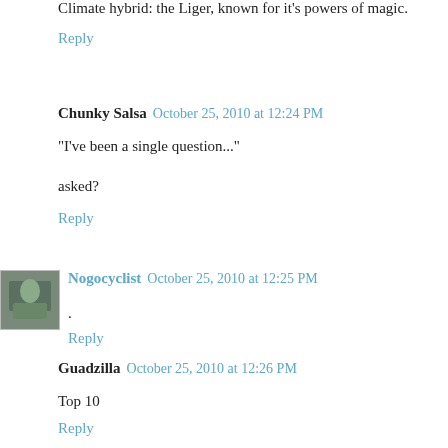Climate hybrid: the Liger, known for it's powers of magic.
Reply
Chunky Salsa  October 25, 2010 at 12:24 PM
"I've been a single question..."
asked?
Reply
Nogocyclist  October 25, 2010 at 12:25 PM
.
Reply
Guadzilla  October 25, 2010 at 12:26 PM
Top 10
Reply